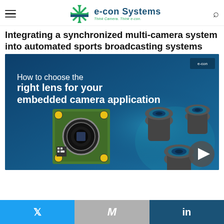e-con Systems – Think Camera. Think e-con.
Integrating a synchronized multi-camera system into automated sports broadcasting systems
[Figure (photo): Promotional banner image on blue background showing a camera module PCB board with lens mount on the left and multiple camera lenses on the right, with text 'How to choose the right lens for your embedded camera application'. A play button icon appears in the bottom right corner.]
Twitter | Gmail/Email | LinkedIn social share buttons